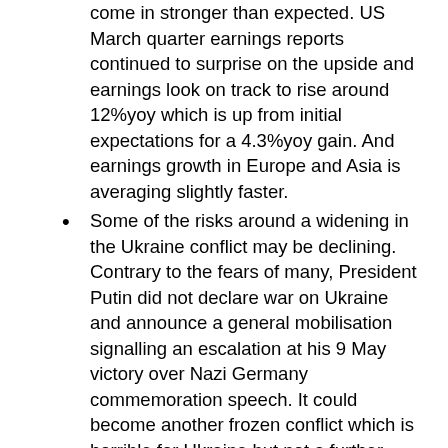come in stronger than expected. US March quarter earnings reports continued to surprise on the upside and earnings look on track to rise around 12%yoy which is up from initial expectations for a 4.3%yoy gain. And earnings growth in Europe and Asia is averaging slightly faster.
Some of the risks around a widening in the Ukraine conflict may be declining. Contrary to the fears of many, President Putin did not declare war on Ukraine and announce a general mobilisation signalling an escalation at his 9 May victory over Nazi Germany commemoration speech. It could become another frozen conflict which is horrible for Ukraine but not a further disruptor to global growth.
Covid cases in China appear to be slowing which could enable an easing in restrictions and clear the way for policy stimulus to